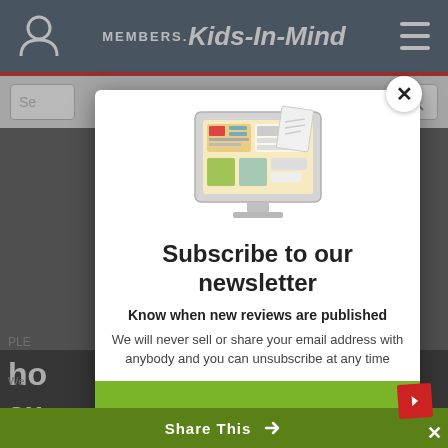MEMBERS. Kids-In-Mind
[Figure (screenshot): Newsletter subscription modal popup on Kids-In-Mind members website. Shows a computer/monitor icon with newsletter graphic, title 'Subscribe to our newsletter', subtitle 'Know when new reviews are published', and descriptive text. Below is a green button area and email input field. Background shows partially visible website content.]
Subscribe to our newsletter
Know when new reviews are published
We will never sell or share your email address with anybody and you can unsubscribe at any time
Email
Share This